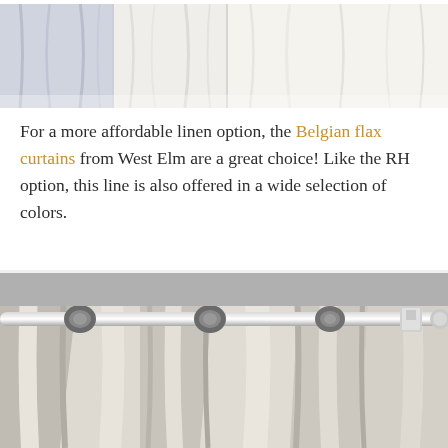[Figure (photo): Strip of curtain fabric swatches showing different shades from light blue-gray to off-white/cream, displayed side by side]
For a more affordable linen option, the Belgian flax curtains from West Elm are a great choice! Like the RH option, this line is also offered in a wide selection of colors.
[Figure (photo): Close-up photo of grommet-top curtains in light gray/cream color hanging on a brushed nickel curtain rod, showing the metal grommets and soft fabric folds]